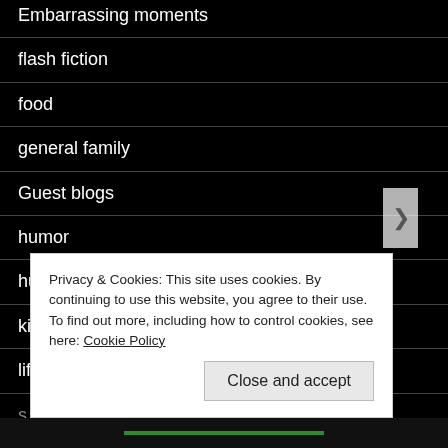Embarrassing moments
flash fiction
food
general family
Guest blogs
humor
husband
kids
life
Privacy & Cookies: This site uses cookies. By continuing to use this website, you agree to their use.
To find out more, including how to control cookies, see here: Cookie Policy
Close and accept